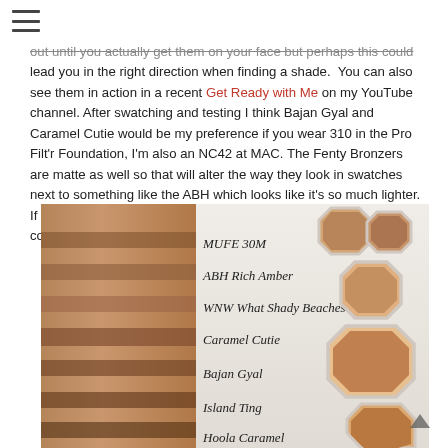menu icon
out until you actually get them on your face but perhaps this could lead you in the right direction when finding a shade. You can also see them in action in a recent Get Ready with Me on my YouTube channel. After swatching and testing I think Bajan Gyal and Caramel Cutie would be my preference if you wear 310 in the Pro Filt'r Foundation, I'm also an NC42 at MAC. The Fenty Bronzers are matte as well so that will alter the way they look in swatches next to something like the ABH which looks like it's so much lighter. If you're looking to purchase they retail for $30USD/$38CAD and come in 8 total shades.
[Figure (photo): Photo showing arm swatches of multiple bronzer shades labeled: MUFE 30M, ABH Rich Amber, WNW What Shady Beaches, Caramel Cutie, Bajan Gyal, Island Ting, Hoola Caramel. On the right side are several Fenty Beauty bronzer compacts in octagonal white packaging opened to show the bronzer shades on a fluffy white background.]